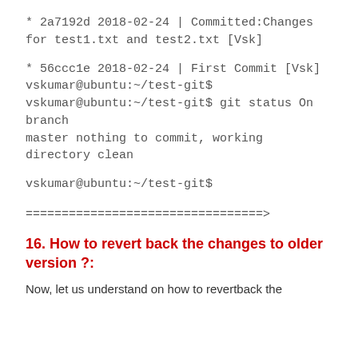* 2a7192d 2018-02-24 | Committed:Changes for test1.txt and test2.txt [Vsk]
* 56ccc1e 2018-02-24 | First Commit [Vsk] vskumar@ubuntu:~/test-git$ vskumar@ubuntu:~/test-git$ git status On branch master nothing to commit, working directory clean
vskumar@ubuntu:~/test-git$
=================================>
16. How to revert back the changes to older version ?:
Now, let us understand on how to revertback the